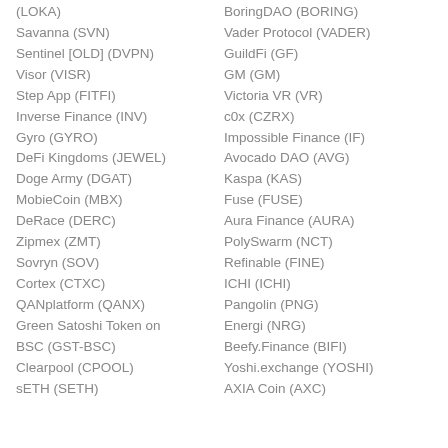(LOKA)
Savanna (SVN)
Sentinel [OLD] (DVPN)
Visor (VISR)
Step App (FITFI)
Inverse Finance (INV)
Gyro (GYRO)
DeFi Kingdoms (JEWEL)
Doge Army (DGAT)
MobieCoin (MBX)
DeRace (DERC)
Zipmex (ZMT)
Sovryn (SOV)
Cortex (CTXC)
QANplatform (QANX)
Green Satoshi Token on BSC (GST-BSC)
Clearpool (CPOOL)
sETH (SETH)
BoringDAO (BORING)
Vader Protocol (VADER)
GuildFi (GF)
GM (GM)
Victoria VR (VR)
c0x (CZRX)
Impossible Finance (IF)
Avocado DAO (AVG)
Kaspa (KAS)
Fuse (FUSE)
Aura Finance (AURA)
PolySwarm (NCT)
Refinable (FINE)
ICHI (ICHI)
Pangolin (PNG)
Energi (NRG)
Beefy.Finance (BIFI)
Yoshi.exchange (YOSHI)
AXIA Coin (AXC)